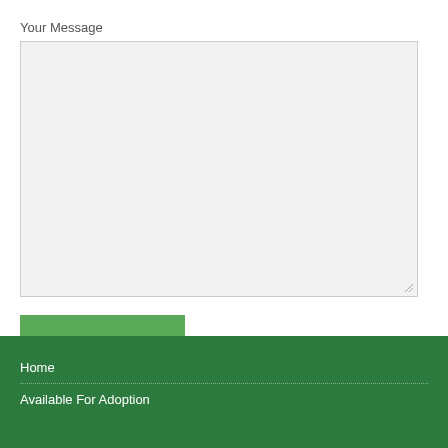Your Message
[Figure (other): Empty textarea input field with light gray background and resize handle in bottom-right corner]
SEND
Home
Available For Adoption